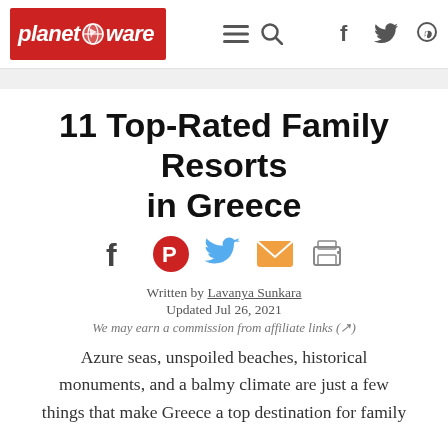planetware [logo] — navigation and social icons
11 Top-Rated Family Resorts in Greece
[Figure (infographic): Social share icons: Facebook, Pinterest, Twitter, Email, Print]
Written by Lavanya Sunkara
Updated Jul 26, 2021
We may earn a commission from affiliate links (↗)
Azure seas, unspoiled beaches, historical monuments, and a balmy climate are just a few things that make Greece a top destination for family